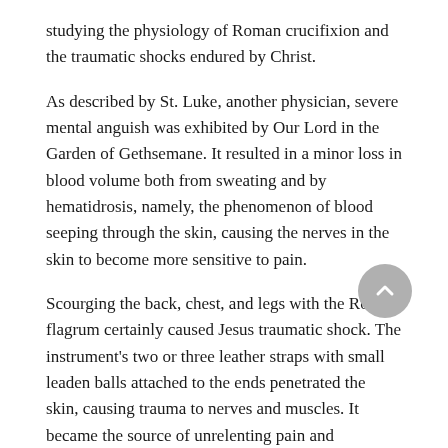studying the physiology of Roman crucifixion and the traumatic shocks endured by Christ.
As described by St. Luke, another physician, severe mental anguish was exhibited by Our Lord in the Garden of Gethsemane. It resulted in a minor loss in blood volume both from sweating and by hematidrosis, namely, the phenomenon of blood seeping through the skin, causing the nerves in the skin to become more sensitive to pain.
Scourging the back, chest, and legs with the Roman flagrum certainly caused Jesus traumatic shock. The instrument’s two or three leather straps with small leaden balls attached to the ends penetrated the skin, causing trauma to nerves and muscles. It became the source of unrelenting pain and hypovolemia (fluid loss).
The scourging also brought on an early stage of fluid accumulation around the lungs (pleural effusion). Victims found themselves exhausted, shivering, sweating, suffering muscular seizures, and craving water.
The irritation of the trigeminal and greater occipital nerves of the scalp triggered by the thorn-studded crown, together with the